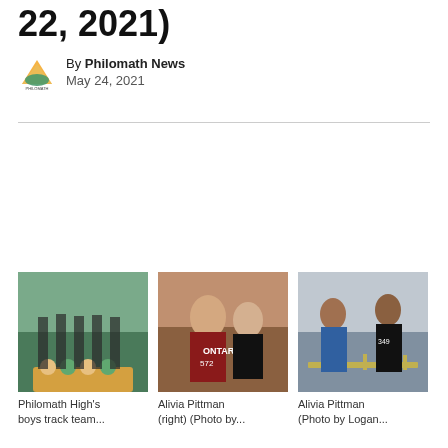22, 2021)
By Philomath News
May 24, 2021
[Figure (photo): Philomath High's boys track team on podium with flowers]
Philomath High's boys track team...
[Figure (photo): Alivia Pittman (right) consoling another runner after a race]
Alivia Pittman (right) (Photo by...
[Figure (photo): Alivia Pittman running hurdles at a track meet]
Alivia Pittman (Photo by Logan...